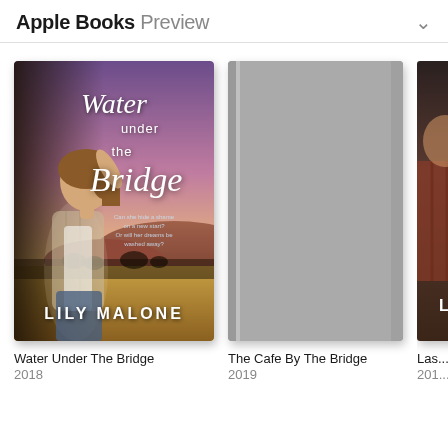Apple Books Preview
[Figure (illustration): Book cover for 'Water Under the Bridge' by Lily Malone, 2018. Shows a woman in a plaid shirt with Australian outback landscape, purple/golden sky with hills in background. Title in white script lettering, author name in white block letters at bottom.]
Water Under The Bridge
2018
[Figure (illustration): Book cover placeholder (gray) for 'The Cafe By The Bridge', 2019.]
The Cafe By The Bridge
2019
[Figure (illustration): Partially visible book cover, third book, year starting with 201-]
Las...
201...